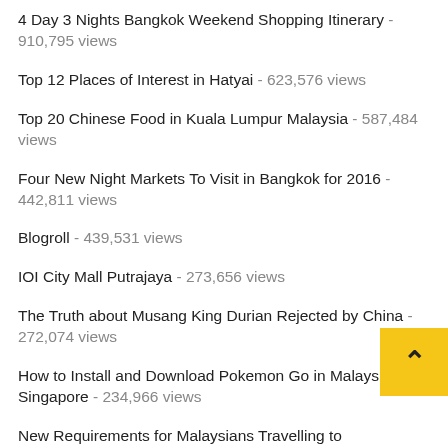4 Day 3 Nights Bangkok Weekend Shopping Itinerary - 910,795 views
Top 12 Places of Interest in Hatyai - 623,576 views
Top 20 Chinese Food in Kuala Lumpur Malaysia - 587,484 views
Four New Night Markets To Visit in Bangkok for 2016 - 442,811 views
Blogroll - 439,531 views
IOI City Mall Putrajaya - 273,656 views
The Truth about Musang King Durian Rejected by China - 272,074 views
How to Install and Download Pokemon Go in Malaysia and Singapore - 234,966 views
New Requirements for Malaysians Travelling to France - 231,051 views
3000 Chinese Tourists Cancelled Trip to Malaysia and Visit